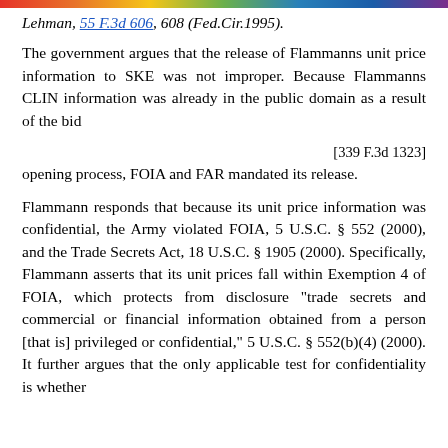Lehman, 55 F.3d 606, 608 (Fed.Cir.1995).
The government argues that the release of Flammanns unit price information to SKE was not improper. Because Flammanns CLIN information was already in the public domain as a result of the bid
[339 F.3d 1323]
opening process, FOIA and FAR mandated its release.
Flammann responds that because its unit price information was confidential, the Army violated FOIA, 5 U.S.C. § 552 (2000), and the Trade Secrets Act, 18 U.S.C. § 1905 (2000). Specifically, Flammann asserts that its unit prices fall within Exemption 4 of FOIA, which protects from disclosure "trade secrets and commercial or financial information obtained from a person [that is] privileged or confidential," 5 U.S.C. § 552(b)(4) (2000). It further argues that the only applicable test for confidentiality is whether